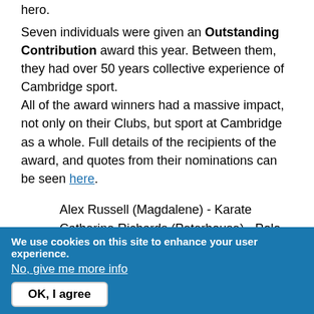hero.
Seven individuals were given an Outstanding Contribution award this year. Between them, they had over 50 years collective experience of Cambridge sport. All of the award winners had a massive impact, not only on their Clubs, but sport at Cambridge as a whole. Full details of the recipients of the award, and quotes from their nominations can be seen here.
Alex Russell (Magdalene) - Karate
Catherine Richards (Peterhouse) - Polo
Georgina Dunkinson (Newnham) - Canoe
Jonathan Vibhishanan (Pembroke) - Boat Club
Joy Lisney (King's) - Athletics, Cricket, Lacrosse, Cycling, Triathlon
Richard Poole – Karate
We use cookies on this site to enhance your user experience. No, give me more info OK, I agree